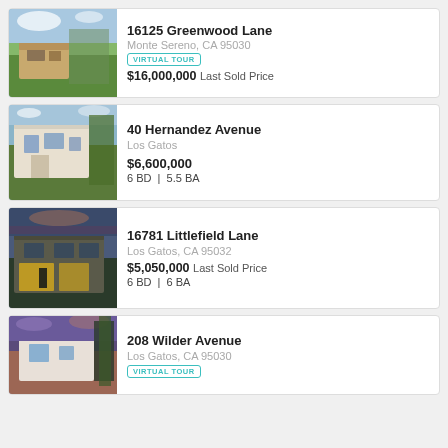[Figure (photo): Exterior photo of 16125 Greenwood Lane, a large estate home with trees and blue sky]
16125 Greenwood Lane
Monte Sereno, CA 95030
VIRTUAL TOUR
$16,000,000 Last Sold Price
[Figure (photo): Exterior photo of 40 Hernandez Avenue, a large white multi-story home with landscaping]
40 Hernandez Avenue
Los Gatos
$6,600,000
6 BD | 5.5 BA
[Figure (photo): Exterior photo of 16781 Littlefield Lane, a modern home at dusk with warm lights]
16781 Littlefield Lane
Los Gatos, CA 95032
$5,050,000 Last Sold Price
6 BD | 6 BA
[Figure (photo): Exterior photo of 208 Wilder Avenue, a modern home at dusk with purple sky]
208 Wilder Avenue
Los Gatos, CA 95030
VIRTUAL TOUR